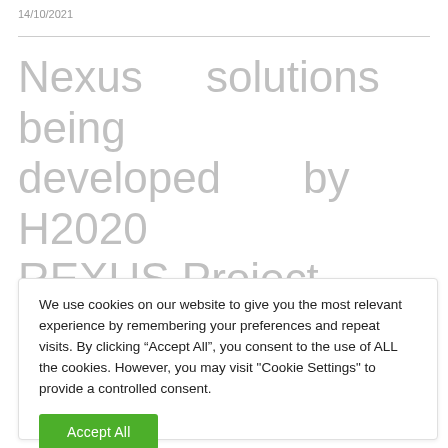14/10/2021
Nexus solutions being developed by H2020 REXUS Project
We use cookies on our website to give you the most relevant experience by remembering your preferences and repeat visits. By clicking “Accept All”, you consent to the use of ALL the cookies. However, you may visit "Cookie Settings" to provide a controlled consent.
Accept All